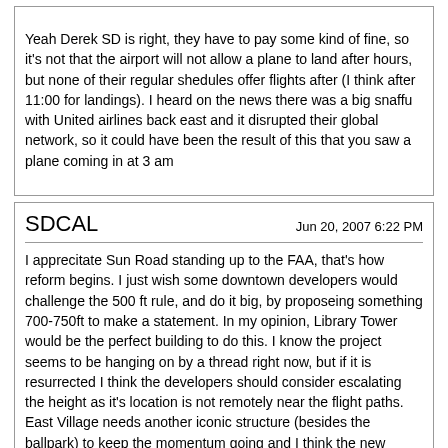Yeah Derek SD is right, they have to pay some kind of fine, so it's not that the airport will not allow a plane to land after hours, but none of their regular shedules offer flights after (I think after 11:00 for landings). I heard on the news there was a big snaffu with United airlines back east and it disrupted their global network, so it could have been the result of this that you saw a plane coming in at 3 am
SDCAL
Jun 20, 2007 6:22 PM
I apprecitate Sun Road standing up to the FAA, that's how reform begins. I just wish some downtown developers would challenge the 500 ft rule, and do it big, by proposeing something 700-750ft to make a statement. In my opinion, Library Tower would be the perfect building to do this. I know the project seems to be hanging on by a thread right now, but if it is resurrected I think the developers should consider escalating the height as it's location is not remotely near the flight paths. East Village needs another iconic structure (besides the ballpark) to keep the momentum going and I think the new library with it's distinct dome design along with a 750ft library tower standing out as by far the tallest building south of downtown LA would really magnatize East Village
spoonman
Jun 20, 2007 7:53 PM
^That's sort of my feeling about Sunroad and the whole height limit